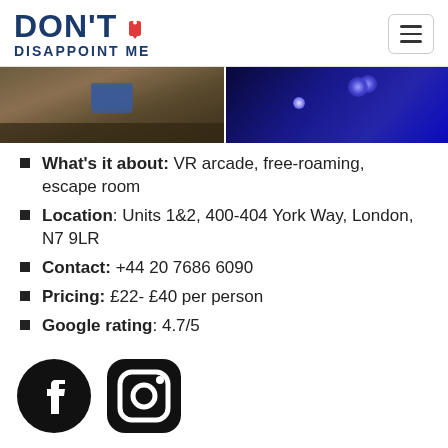DON'T DISAPPOINT ME
[Figure (photo): Two side-by-side photos: left shows a dark room with a rug and a VR screen setup; right shows a dark blue-lit VR environment]
What's it about: VR arcade, free-roaming, escape room
Location: Units 1&2, 400-404 York Way, London, N7 9LR
Contact: +44 20 7686 6090
Pricing: £22- £40 per person
Google rating: 4.7/5
[Figure (logo): Facebook and Instagram social media icons at the bottom]